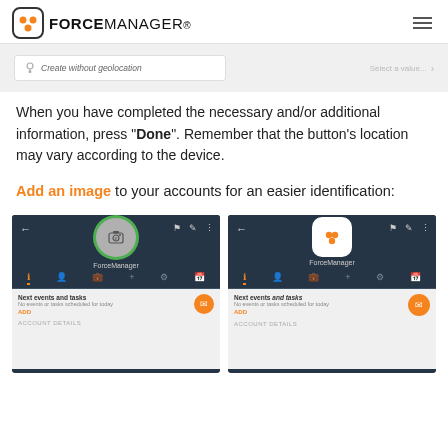FORCEMANAGER
[Figure (screenshot): Mobile app screenshot showing 'Create without geolocation' option and a field selector on the right]
When you have completed the necessary and/or additional information, press "Done". Remember that the button's location may vary according to the device.
Add an image to your accounts for an easier identification:
[Figure (screenshot): Two mobile app screenshots showing ForceManager account view - left shows camera icon placeholder with green border, right shows ForceManager logo. Both show Next events and tasks section and Account Details below.]